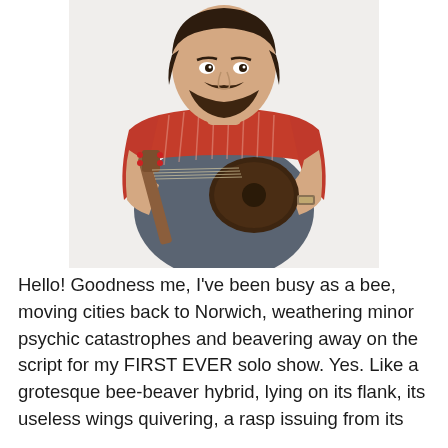[Figure (photo): A young man with dark hair and a beard, wearing an open red plaid shirt over a grey t-shirt, holding a small ukulele or similar small stringed instrument. He is looking directly at the camera with a neutral expression. The background is plain white/light grey.]
Hello! Goodness me, I've been busy as a bee, moving cities back to Norwich, weathering minor psychic catastrophes and beavering away on the script for my FIRST EVER solo show. Yes. Like a grotesque bee-beaver hybrid, lying on its flank, its useless wings quivering, a rasp issuing from its